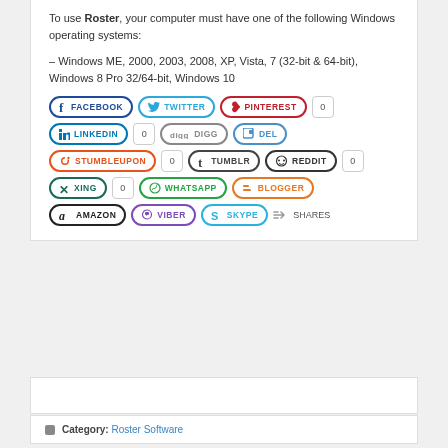To use Roster, your computer must have one of the following Windows operating systems:
– Windows ME, 2000, 2003, 2008, XP, Vista, 7 (32-bit & 64-bit), Windows 8 Pro 32/64-bit, Windows 10
[Figure (infographic): Social sharing buttons: Facebook, Twitter, Pinterest (0), LinkedIn (0), Digg, Del, StumbleUpon (0), Tumblr, Reddit (0), Xing (0), WhatsApp, Blogger, Amazon, Viber, Skype, and a Shares label]
Category: Roster Software